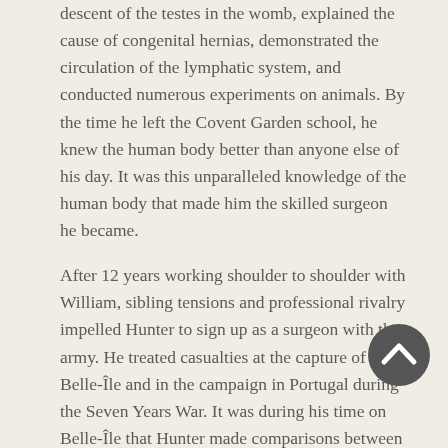descent of the testes in the womb, explained the cause of congenital hernias, demonstrated the circulation of the lymphatic system, and conducted numerous experiments on animals. By the time he left the Covent Garden school, he knew the human body better than anyone else of his day. It was this unparalleled knowledge of the human body that made him the skilled surgeon he became.
After 12 years working shoulder to shoulder with William, sibling tensions and professional rivalry impelled Hunter to sign up as a surgeon with the army. He treated casualties at the capture of Belle-Île and in the campaign in Portugal during the Seven Years War. It was during his time on Belle-Île that Hunter made comparisons between five French soldiers whose gun-shot wounds had gone untreated and a British soldier who had undergone surgery. Discovering that the French soldiers' wounds had healed better for their lack of